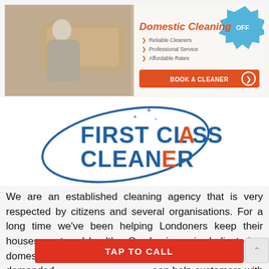[Figure (illustration): Domestic Cleaning advertisement banner showing a woman making a bed, with text 'Domestic Cleaning', bullet points 'Reliable Cleaners', 'Professional Service', 'Affordable Rates', a 'BOOK A CLEANER' button, and a discount badge saying 'OFF' in the top right corner.]
[Figure (logo): First Class Cleaner logo with blue swirl design, sparkle stars, text 'FIRST CLASS' in blue and 'CLEANER' in orange/red, decorative ellipse around the text]
We are an established cleaning agency that is very respected by citizens and several organisations. For a long time we've been helping Londoners keep their houses neat and healthy. Our business is dedicated to domestic cleaning: a service quite popular and demanded ... keep help customers with their household responsibilities and
TAP TO CALL